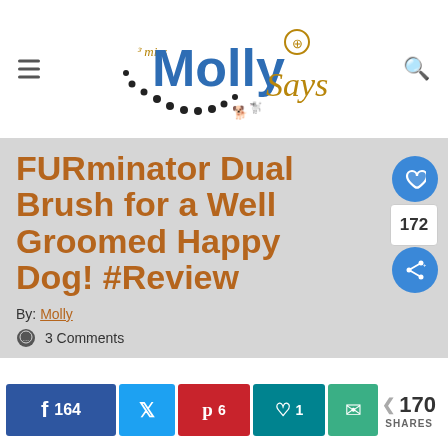[Figure (logo): Miss Molly Says blog logo with paw prints and dog silhouettes]
FURminator Dual Brush for a Well Groomed Happy Dog! #Review
By: Molly
3 Comments
164  6  1  170 SHARES